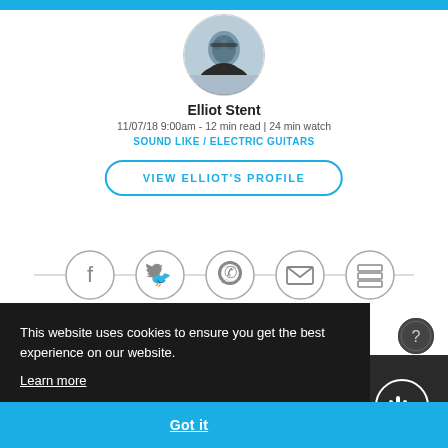[Figure (photo): Circular profile photo of Elliot Stent, a young man wearing glasses]
Elliot Stent
11/07/18 9:00am - 12 min read | 24 min watch
SOUND LIKE / ELECTRIC GUITARS
VIEW ELLIOT'S PROFILE
[Figure (infographic): Row of social sharing icons: Facebook, Twitter, WhatsApp, Email, Layers/Flipboard, connected by a horizontal line]
[Figure (infographic): Dark circular help/info button with question mark]
This website uses cookies to ensure you get the best experience on our website.
Learn more
Got it
[Figure (logo): Sound Like logo with waveform icon and text SOUND LIKE on dark background]
out B.